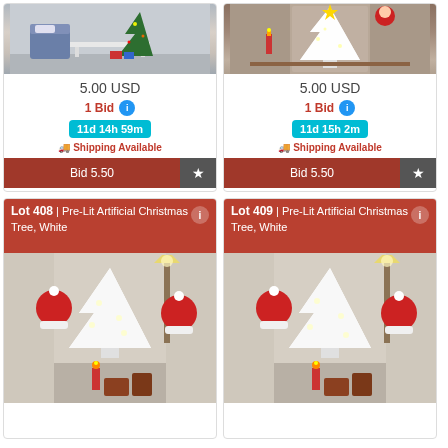[Figure (photo): Christmas tree in living room setting]
5.00 USD
1 Bid
11d 14h 59m
Shipping Available
Bid 5.50
[Figure (photo): White pre-lit artificial Christmas tree]
5.00 USD
1 Bid
11d 15h 2m
Shipping Available
Bid 5.50
Lot 408 | Pre-Lit Artificial Christmas Tree, White
[Figure (photo): White pre-lit artificial Christmas tree, Lot 408]
Lot 409 | Pre-Lit Artificial Christmas Tree, White
[Figure (photo): White pre-lit artificial Christmas tree, Lot 409]